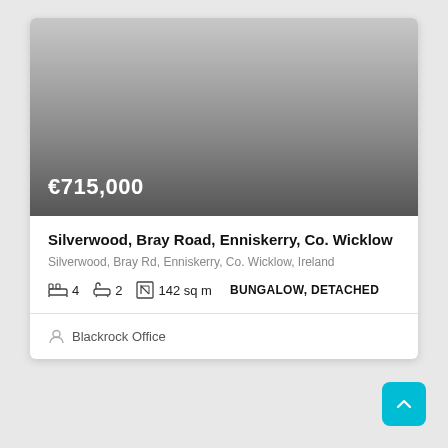[Figure (photo): Property listing photo showing a gradient grey placeholder image representing a house photo]
€715,000
Silverwood, Bray Road, Enniskerry, Co. Wicklow
Silverwood, Bray Rd, Enniskerry, Co. Wicklow, Ireland
4   2   142 sq m   BUNGALOW, DETACHED
Blackrock Office